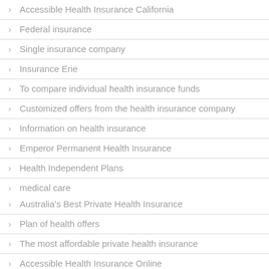Accessible Health Insurance California
Federal insurance
Single insurance company
Insurance Erie
To compare individual health insurance funds
Customized offers from the health insurance company
Information on health insurance
Emperor Permanent Health Insurance
Health Independent Plans
medical care
Australia's Best Private Health Insurance
Plan of health offers
The most affordable private health insurance
Accessible Health Insurance Online
Check the offers of private health insurance
Has a medical health insurance policy